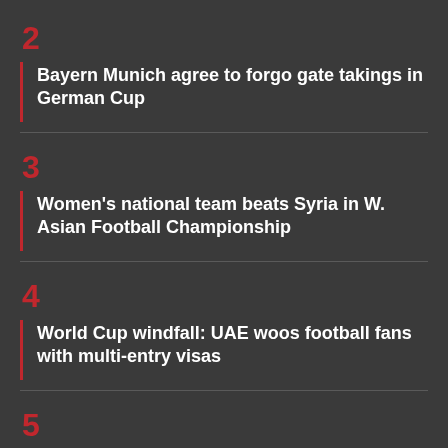2 Bayern Munich agree to forgo gate takings in German Cup
3 Women's national team beats Syria in W. Asian Football Championship
4 World Cup windfall: UAE woos football fans with multi-entry visas
5